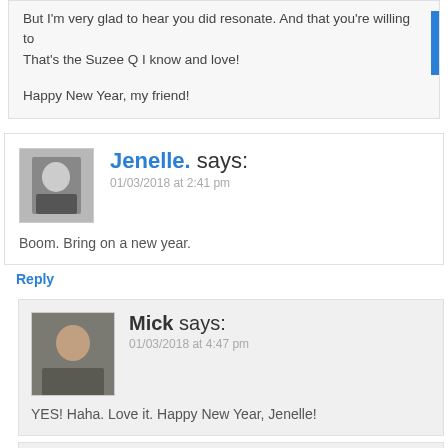But I'm very glad to hear you did resonate. And that you're willing to... That's the Suzee Q I know and love!
Happy New Year, my friend!
Jenelle. says:
01/03/2018 at 2:41 pm

Boom. Bring on a new year.
Reply
Mick says:
01/03/2018 at 4:47 pm

YES! Haha. Love it. Happy New Year, Jenelle!
suzee B says:
01/03/2018 at 4:56 pm

BOOM! yup, i second that bring it on bit!!!